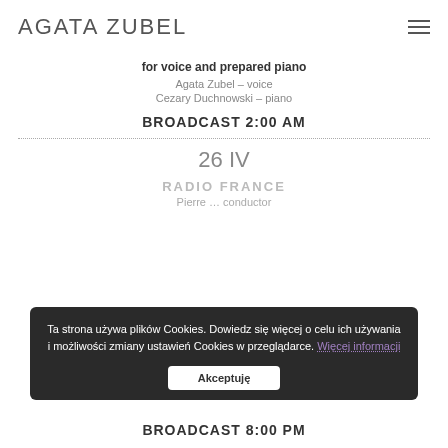AGATA ZUBEL
for voice and prepared piano
Agata Zubel – voice
Cezary Duchnowski – piano
BROADCAST 2:00 AM
26 IV
RADIO FRANCE
Pierre … conductor
BROADCAST 8:00 PM
Ta strona używa plików Cookies. Dowiedz się więcej o celu ich używania i możliwości zmiany ustawień Cookies w przeglądarce. Więcej informacji